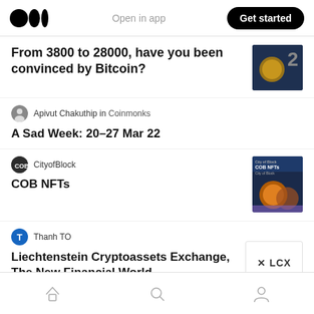Medium logo | Open in app | Get started
From 3800 to 28000, have you been convinced by Bitcoin?
Apivut Chakuthip in Coinmonks
A Sad Week: 20–27 Mar 22
CityofBlock
COB NFTs
Thanh TO
Liechtenstein Cryptoassets Exchange, The New Financial World
Home | Search | Profile